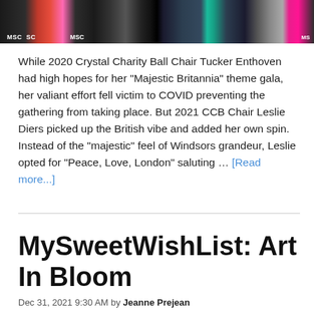[Figure (photo): A horizontal photo strip showing event attendees at a gala, with MSC logos visible at the bottom left and center of the image.]
While 2020 Crystal Charity Ball Chair Tucker Enthoven had high hopes for her "Majestic Britannia" theme gala, her valiant effort fell victim to COVID preventing the gathering from taking place. But 2021 CCB Chair Leslie Diers picked up the British vibe and added her own spin. Instead of the "majestic" feel of Windsors grandeur, Leslie opted for "Peace, Love, London" saluting … [Read more...]
MySweetWishList: Art In Bloom
Dec 31, 2021 9:30 AM by Jeanne Prejean